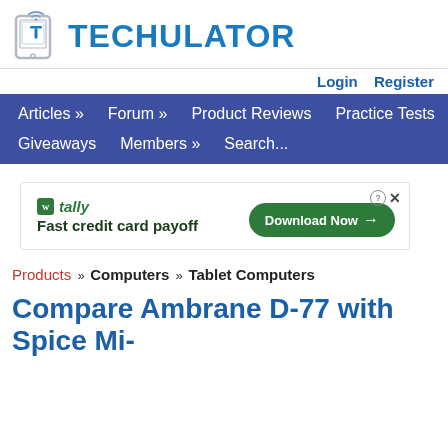[Figure (logo): Techulator logo with smartphone icon and blue TECHULATOR text]
Login   Register
Articles » Forum » Product Reviews Practice Tests Giveaways Members » Search...
[Figure (photo): Tally advertisement: Fast credit card payoff — Download Now button]
Products » Computers » Tablet Computers
Compare Ambrane D-77 with Spice Mi-